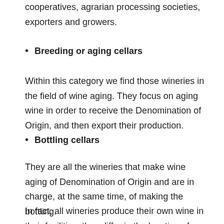cooperatives, agrarian processing societies, exporters and growers.
Breeding or aging cellars
Within this category we find those wineries in the field of wine aging. They focus on aging wine in order to receive the Denomination of Origin, and then export their production.
Bottling cellars
They are all the wineries that make wine aging of Denomination of Origin and are in charge, at the same time, of making the bottling.
In fact, all wineries produce their own wine in their facilities, they differ in the location of these wineries or in the